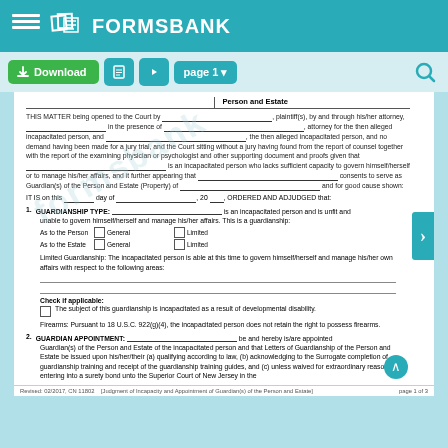FORMSBANK
THIS MATTER being opened to the Court by ___, plaintiff(s), by and through his/her attorney, ___ in the presence of ___, attorney for the then alleged incapacitated person, and ___, the then alleged incapacitated person, and no demand having been made for a jury trial, and the Court sitting without a jury having found from the report of counsel together with the report of the examining physician or psychologist and other supporting document and proofs given that ___ is an incapacitated person who lacks sufficient capacity to govern himself/herself or to manage his/her affairs, and it further appearing that ___ consents to serve as Guardian(s) of the Person and Estate (Property) of ___ and for good cause shown:
IT IS on this ___ day of ___, 20 ___, ORDERED AND ADJUDGED that:
1. GUARDIANSHIP TYPE:
___ is an incapacitated person and is unfit and unable to govern himself/herself and manage his/her affairs. This is a guardianship:
As to the Person: General / Limited
As to the Estate: General / Limited
Limited Guardianship: The incapacitated person is able at this time to govern himself/herself and manage his/her own affairs with respect to the following areas:
Check if applicable:
☐ The subject of this guardianship is incapacitated as a result of developmental disability.
Firearms: Pursuant to 18 U.S.C. 922(g)(4), the incapacitated person does not retain the right to possess firearms.
2. GUARDIAN APPOINTMENT:
___ be and hereby is/are appointed Guardian(s) of the Person and Estate of the incapacitated person and that Letters of Guardianship of the Person and Estate be issued upon his/her/their (a) qualifying according to law, (b) acknowledging to the Surrogate completion of guardianship training and receipt of the guardianship training guides, and (c) unless waived for extraordinary reasons, entering into a surety bond unto the Superior Court of New Jersey in the
Revised: 02/2017, CN 11802     [Judgment of Incapacity and Appointment of Guardian(s) of the Person and Estate]     page 1 of 3